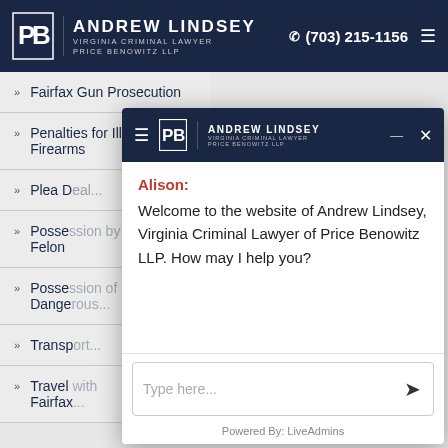[Figure (screenshot): Website header/navbar for Andrew Lindsey Virginia Criminal Lawyer Price Benowitz LLP with phone number (703) 215-1156 and hamburger menu on dark navy background]
» Fairfax Gun Prosecution
» Penalties for Illegal Firearms
» Plea Deal...
» Possession by Felon
» Possession of Dangerous...
» Transportation...
» Travel with Fairfax...
[Figure (screenshot): Live chat overlay popup showing Andrew Lindsey law firm branding with chat agent named Alison welcoming user to the website of Andrew Lindsey, Virginia Criminal Lawyer of Price Benowitz LLP, with a text input box and Powered By: LiveAdmins footer]